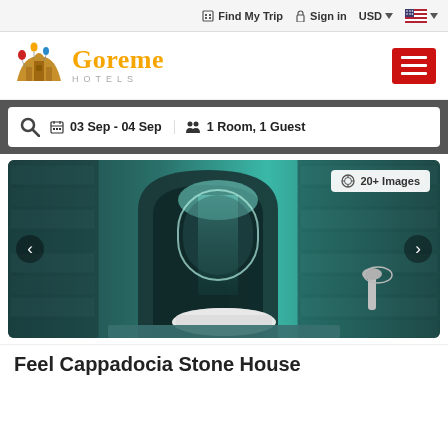Find My Trip  Sign in  USD  [flag]
[Figure (logo): Goreme Hotels logo with mountain/castle illustration and hot air balloons]
03 Sep - 04 Sep    1 Room, 1 Guest
[Figure (photo): Hotel bathroom photo - stone walls with teal/turquoise lighting, arched mirror, white basin sink. Shows '20+ Images' badge.]
Feel Cappadocia Stone House